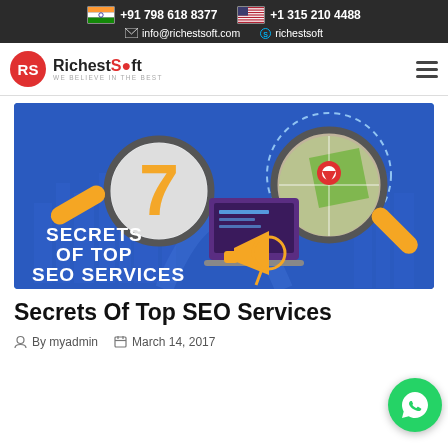+91 798 618 8377  +1 315 210 4488  info@richestsoft.com  richestsoft
[Figure (logo): RichestSoft logo with red RS icon and tagline WE BELIEVE IN THE BEST]
[Figure (infographic): 7 Secrets of Top SEO Services banner with magnifying glasses, globe, map pin, megaphone, and laptop on blue background]
Secrets Of Top SEO Services
By myadmin   March 14, 2017